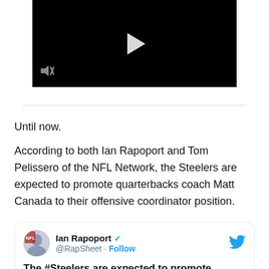[Figure (screenshot): Black video player with play button and mute icon]
Until now.
According to both Ian Rapoport and Tom Pelissero of the NFL Network, the Steelers are expected to promote quarterbacks coach Matt Canada to their offensive coordinator position.
[Figure (screenshot): Tweet by Ian Rapoport (@RapSheet) with blue verified checkmark and Follow link. Tweet text begins: The #Steelers are expected to promote]
The #Steelers are expected to promote